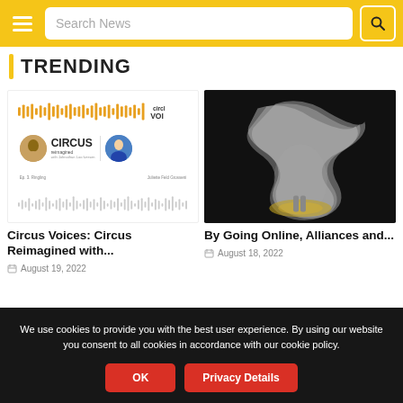Search News
TRENDING
[Figure (screenshot): Podcast thumbnail for Circus Voices: Circus Reimagined with audio waveforms and two circular portrait avatars]
Circus Voices: Circus Reimagined with...
August 19, 2022
[Figure (photo): Dark artistic photo of a dancer in motion with shimmering fabric against a dark background]
By Going Online, Alliances and...
August 18, 2022
We use cookies to provide you with the best user experience. By using our website you consent to all cookies in accordance with our cookie policy.